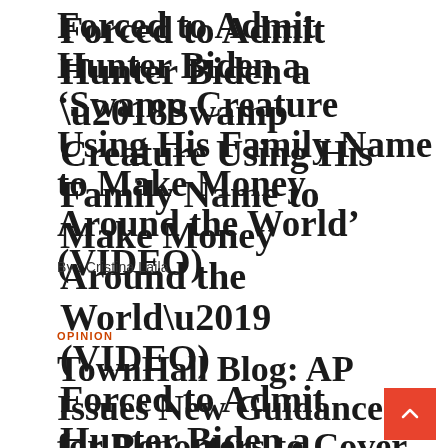Forced to Admit Hunter Biden a ‘Swamp Creature Using His Family Name to Make Money Around the World’ (VIDEO)
By: Cristina Laila
OPINION
TownHall Blog: AP Issues New Guidance for Reporters to Cover